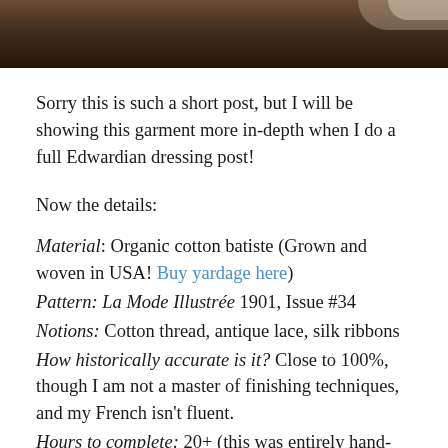[Figure (photo): Top portion of a photograph showing a dark brown wooden surface with a white lace or fabric edge visible in the upper right corner.]
Sorry this is such a short post, but I will be showing this garment more in-depth when I do a full Edwardian dressing post!
Now the details:
Material: Organic cotton batiste (Grown and woven in USA! Buy yardage here)
Pattern: La Mode Illustrée 1901, Issue #34
Notions: Cotton thread, antique lace, silk ribbons
How historically accurate is it? Close to 100%, though I am not a master of finishing techniques, and my French isn't fluent.
Hours to complete: 20+ (this was entirely hand-sewn,